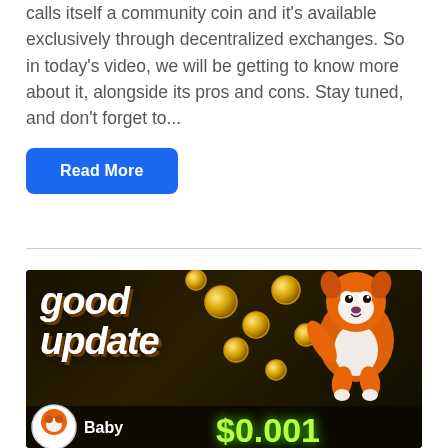calls itself a community coin and it's available exclusively through decentralized exchanges. So in today's video, we will be getting to know more about it, alongside its pros and cons. Stay tuned, and don't forget to...
Read More
[Figure (illustration): Dark background promotional image for BabyDoge coin showing 'good update' text in white italic font, gold coins scattered, an orange and white cartoon dog mascot, and green glowing '$0.001' price text. Bottom bar shows BabyDoge logo circle and 'Baby' text.]
Baby Doge Coin(BabyDoge) | BabyDoge Good Update